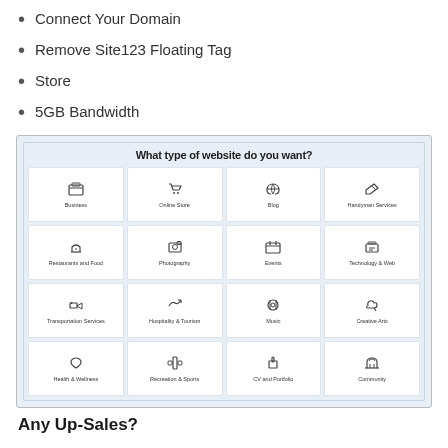10GB Storage
Connect Your Domain
Remove Site123 Floating Tag
Store
5GB Bandwidth
[Figure (screenshot): Screenshot of a website builder interface showing a grid of website type options under the heading 'What type of website do you want?' with 16 category tiles: Business, Online Store, Blog, Handyman Services, Restaurants and Food, Photography, Events, Technology & Web, Transportation Services, Hospitality & Tourism, Music, Creative Arts, Health & Wellness, Recreation & Sports, CV and Portfolio, Community]
Any Up-Sales?